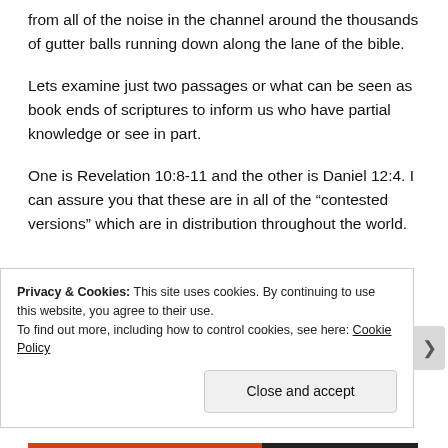from all of the noise in the channel around the thousands of gutter balls running down along the lane of the bible.
Lets examine just two passages or what can be seen as book ends of scriptures to inform us who have partial knowledge or see in part.
One is Revelation 10:8-11 and the other is Daniel 12:4. I can assure you that these are in all of the “contested versions” which are in distribution throughout the world.
Privacy & Cookies: This site uses cookies. By continuing to use this website, you agree to their use. To find out more, including how to control cookies, see here: Cookie Policy